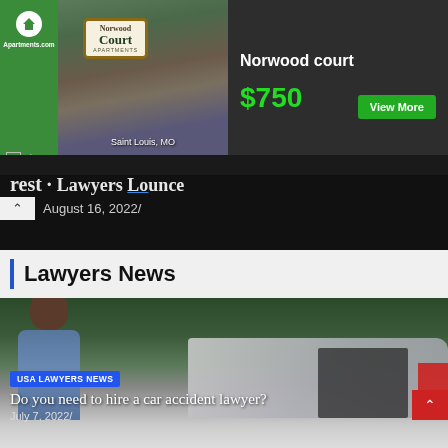[Figure (screenshot): Advertisement banner for Norwood Court Apartments on Apartments.com, showing apartment building photo, sign, Saint Louis MO location, price $750, and View More button]
August 16, 2022/
Lawyers News
[Figure (photo): Photo of two people outside a car after an accident, one man gesturing with arms spread wide]
USA LAWYERS NEWS
Do you need to hire a car accident lawyer?
July 7, 2022/